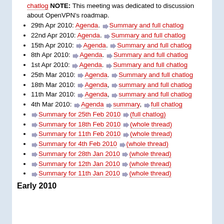chatlog NOTE: This meeting was dedicated to discussion about OpenVPN's roadmap.
29th Apr 2010: Agenda. ⇒ Summary and full chatlog
22nd Apr 2010: Agenda. ⇒ Summary and full chatlog
15th Apr 2010: ⇒ Agenda. ⇒ Summary and full chatlog
8th Apr 2010: ⇒ Agenda. ⇒ Summary and full chatlog
1st Apr 2010: ⇒ Agenda. ⇒ Summary and full chatlog
25th Mar 2010: ⇒ Agenda. ⇒ Summary and full chatlog
18th Mar 2010: ⇒ Agenda, ⇒ summary and full chatlog
11th Mar 2010: ⇒ Agenda, ⇒ summary and full chatlog
4th Mar 2010: ⇒ Agenda ⇒ summary, ⇒ full chatlog
⇒ Summary for 25th Feb 2010 ⇒ (full chatlog)
⇒ Summary for 18th Feb 2010 ⇒ (whole thread)
⇒ Summary for 11th Feb 2010 ⇒ (whole thread)
⇒ Summary for 4th Feb 2010 ⇒ (whole thread)
⇒ Summary for 28th Jan 2010 ⇒ (whole thread)
⇒ Summary for 12th Jan 2010 ⇒ (whole thread)
⇒ Summary for 11th Jan 2010 ⇒ (whole thread)
Early 2010